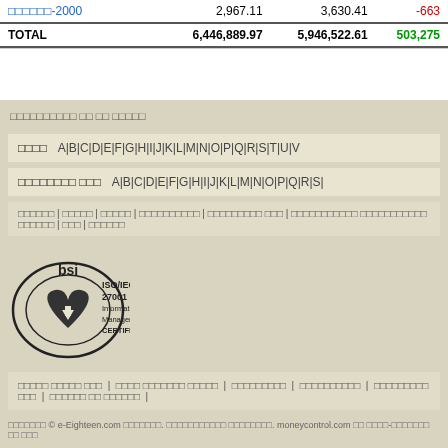|  |  |  |  |
| --- | --- | --- | --- |
| □□□□□□-2000 | 2,967.11 | 3,630.41 | -663 |
| TOTAL | 6,446,889.97 | 5,946,522.61 | 503,275 |
□□□□□□□□□□ □□ □□ □□□□□
□□□□  A|B|C|D|E|F|G|H|I|J|K|L|M|N|O|P|Q|R|S|T|U|V
□□□□□□□□ □□□  A|B|C|D|E|F|G|H|I|J|K|L|M|N|O|P|Q|R|S|
□□□□□□ | □□□□□ | □□□□□ | □□□□□□□□□□ | □□□□□□□□□ □□□ | □□□□□□□□□□□ □□□□□□□□□□□ □□□□□□ | □□□ | □□□□□□
[Figure (logo): BSI ISO/IEC 27001 Information Security Management Certified logo]
□□□□□□ □□□□□ □□□ | □□□□ □□□□□□□ □□□□□ | □□□□□□□□□ | □□□□□□□□□□ | □□□□□□□□□ □□□ | □□□□□□ □□ □□□□□□ |
□□□□□□□ © e-Eighteen.com □□□□□□□. □□□□□□□□□□□ □□□□□□□□. moneycontrol.com □□ □□□□-□□□□□□□ □□ □□□